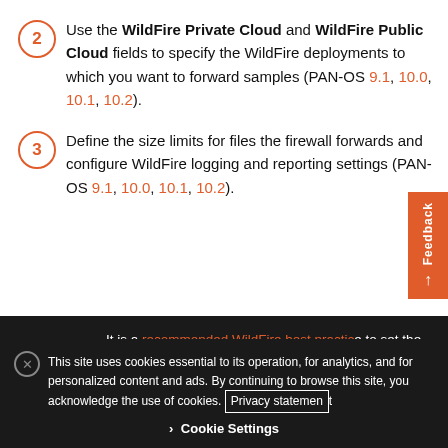Use the WildFire Private Cloud and WildFire Public Cloud fields to specify the WildFire deployments to which you want to forward samples (PAN-OS 9.1, 10.0, 10.1, 10.2).
Define the size limits for files the firewall forwards and configure WildFire logging and reporting settings (PAN-OS 9.1, 10.0, 10.1, 10.2).
It is a recommended WildFire best practice to set the File Size for PEs to the maximum size limit of 10 MB, and to leave the File Size for all other file types set to the default value.
This site uses cookies essential to its operation, for analytics, and for personalized content and ads. By continuing to browse this site, you acknowledge the use of cookies. Privacy statement